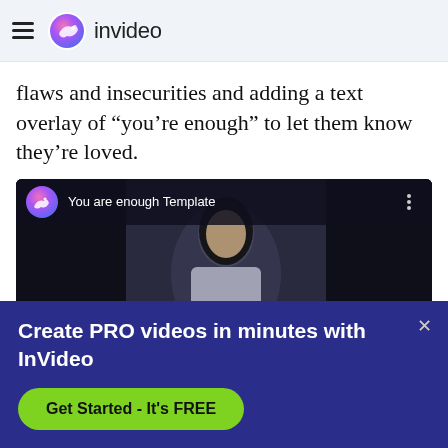invideo
flaws and insecurities and adding a text overlay of “you’re enough” to let them know they’re loved.
[Figure (screenshot): Embedded video player showing 'You are enough Template' with InVideo logo and a YouTube-style play button, showing a woman sitting on a couch in a dark setting.]
Create PRO videos in minutes with InVideo
Get Started - It's FREE